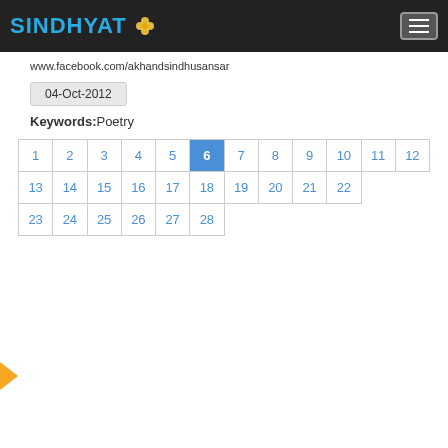SINDHYAT
www.facebook.com/akhandsindhusansar
04-Oct-2012
Keywords:Poetry
| 1 | 2 | 3 | 4 | 5 | 6 | 7 | 8 | 9 | 10 | 11 | 12 |
| 13 | 14 | 15 | 16 | 17 | 18 | 19 | 20 | 21 | 22 |  |  |
| 23 | 24 | 25 | 26 | 27 | 28 |  |  |  |  |  |  |